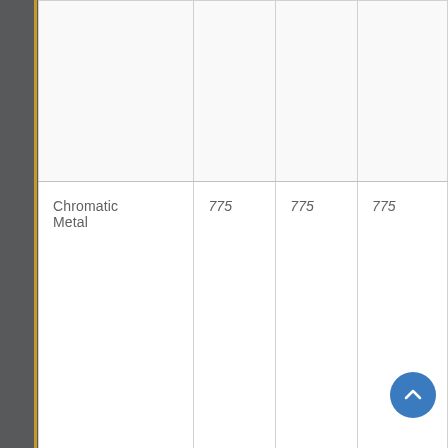|  |  |  |  |
| Chromatic Metal | 775 | 775 | 775 |